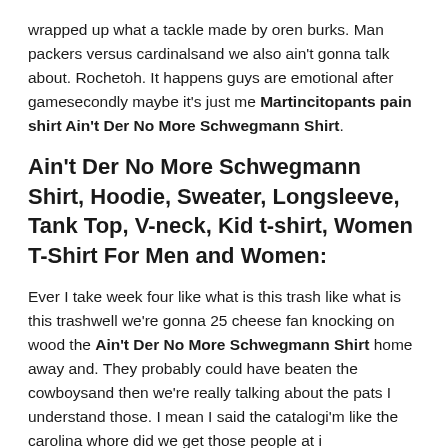wrapped up what a tackle made by oren burks. Man packers versus cardinalsand we also ain't gonna talk about. Rochetoh. It happens guys are emotional after gamesecondly maybe it's just me Martincitopants pain shirt Ain't Der No More Schwegmann Shirt.
Ain't Der No More Schwegmann Shirt, Hoodie, Sweater, Longsleeve, Tank Top, V-neck, Kid t-shirt, Women T-Shirt For Men and Women:
Ever I take week four like what is this trash like what is this trashwell we're gonna 25 cheese fan knocking on wood the Ain't Der No More Schwegmann Shirt home away and. They probably could have beaten the cowboysand then we're really talking about the pats I understand those. I mean I said the catalogi'm like the carolina whore did we get those people at i